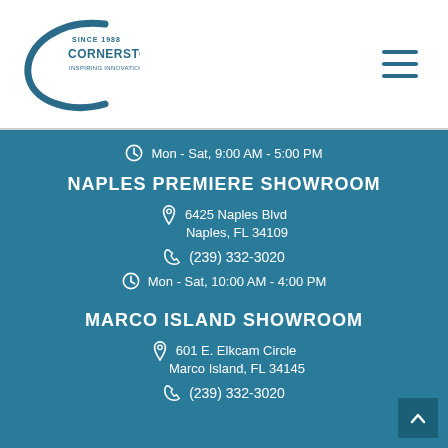[Figure (logo): Cornerstone logo with stylized C and text 'SINCE 1988 CORNERSTONE INSPIRING INNOVATIONS']
Mon - Sat, 9:00 AM - 5:00 PM
NAPLES PREMIERE SHOWROOM
6425 Naples Blvd
Naples, FL 34109
(239) 332-3020
Mon - Sat, 10:00 AM - 4:00 PM
MARCO ISLAND SHOWROOM
601 E. Elkcam Circle
Marco Island, FL 34145
(239) 332-3020